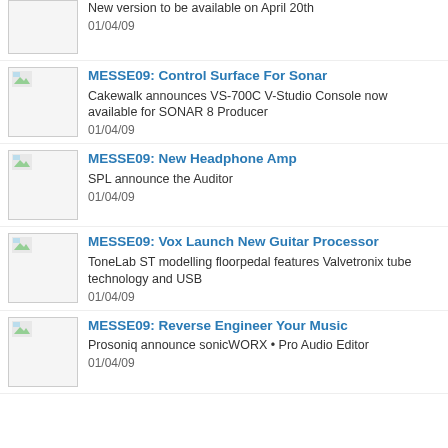New version to be available on April 20th
01/04/09
MESSE09: Control Surface For Sonar
Cakewalk announces VS-700C V-Studio Console now available for SONAR 8 Producer
01/04/09
MESSE09: New Headphone Amp
SPL announce the Auditor
01/04/09
MESSE09: Vox Launch New Guitar Processor
ToneLab ST modelling floorpedal features Valvetronix tube technology and USB
01/04/09
MESSE09: Reverse Engineer Your Music
Prosoniq announce sonicWORX • Pro Audio Editor
01/04/09